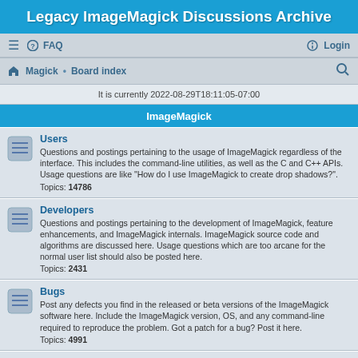Legacy ImageMagick Discussions Archive
≡  FAQ    Login
Magick • Board index
It is currently 2022-08-29T18:11:05-07:00
ImageMagick
Users
Questions and postings pertaining to the usage of ImageMagick regardless of the interface. This includes the command-line utilities, as well as the C and C++ APIs. Usage questions are like "How do I use ImageMagick to create drop shadows?".
Topics: 14786
Developers
Questions and postings pertaining to the development of ImageMagick, feature enhancements, and ImageMagick internals. ImageMagick source code and algorithms are discussed here. Usage questions which are too arcane for the normal user list should also be posted here.
Topics: 2431
Bugs
Post any defects you find in the released or beta versions of the ImageMagick software here. Include the ImageMagick version, OS, and any command-line required to reproduce the problem. Got a patch for a bug? Post it here.
Topics: 4991
Consulting
Do you need consulting from ImageMagick experts and are willing to pay for